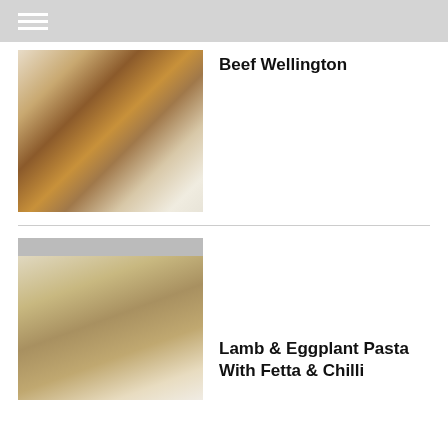[Figure (photo): Photo of a Beef Wellington on a white serving platter with cutlery, a white napkin, and gold Christmas ornaments on a marble surface]
Beef Wellington
[Figure (photo): Loading/placeholder image for Lamb & Eggplant Pasta With Fetta & Chilli recipe]
Lamb & Eggplant Pasta With Fetta & Chilli